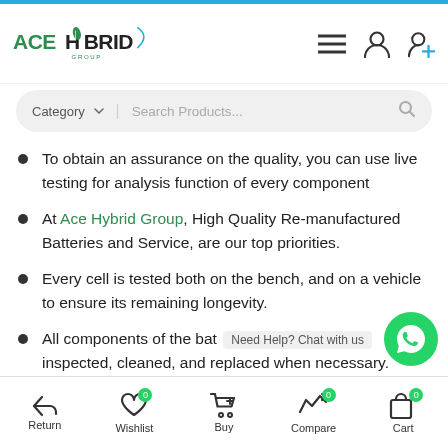[Figure (logo): Ace Hybrid Group logo with green leaf styling]
[Figure (screenshot): Search bar with Category dropdown and Search Products placeholder]
To obtain an assurance on the quality, you can use live testing for analysis function of every component
At Ace Hybrid Group, High Quality Re-manufactured Batteries and Service, are our top priorities.
Every cell is tested both on the bench, and on a vehicle to ensure its remaining longevity.
All components of the bat... inspected, cleaned, and replaced when necessary.
[Figure (illustration): WhatsApp chat button with Need Help? Chat with us label]
Return | Wishlist 0 | Buy | Compare 0 | Cart 0